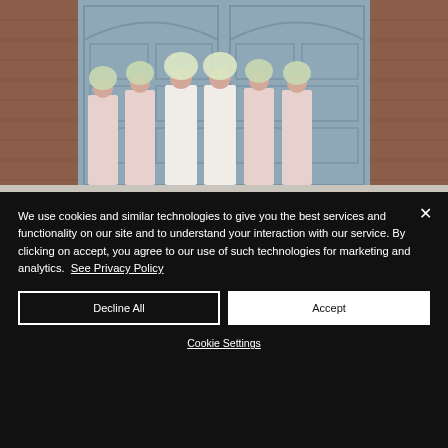[Figure (photo): Wedding party photo: six bridesmaids in long blush/pink dresses holding bouquets of white flowers in front of their faces, standing in front of large pale blue garage/carriage house doors with brick walls on either side.]
We use cookies and similar technologies to give you the best services and functionality on our site and to understand your interaction with our service. By clicking on accept, you agree to our use of such technologies for marketing and analytics. See Privacy Policy
Decline All
Accept
Cookie Settings